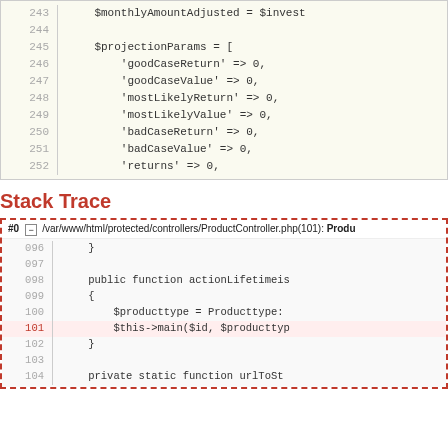[Figure (screenshot): Code block showing PHP lines 243-252 with $monthlyAmountAdjusted and $projectionParams array initialization]
Stack Trace
[Figure (screenshot): Stack trace box showing #0 /var/www/html/protected/controllers/ProductController.php(101) with code lines 096-104, line 101 highlighted in pink]